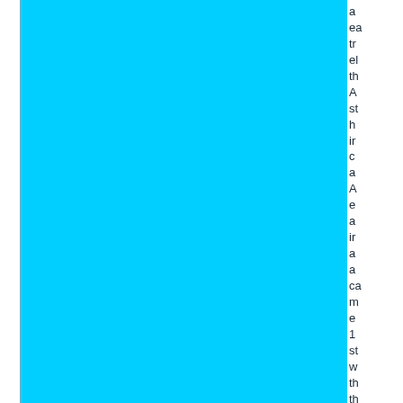[Figure (other): Cyan/light blue rectangular block occupying most of the page, with a thin left border line, representing a figure or image region.]
a ea tr el th A st h ir c a A e a ir a a c m e 1 s w th th